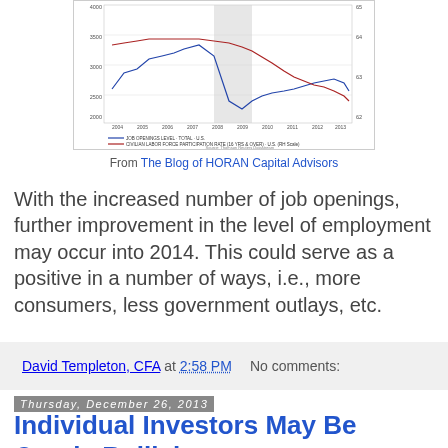[Figure (continuous-plot): Line chart showing Job Openings Level - Total U.S. and Civilian Labor Force Participation Rate (16 yrs & over) U.S. (RH Scale) from 2004 to 2013. Source: Thomson Reuters Datastream. Left y-axis shows values from 2000 to 4000 ($ thousands), right y-axis shows percent scale 62 to 65. A shaded region highlights 2008-2009.]
From The Blog of HORAN Capital Advisors
With the increased number of job openings, further improvement in the level of employment may occur into 2014. This could serve as a positive in a number of ways, i.e., more consumers, less government outlays, etc.
David Templeton, CFA at 2:58 PM   No comments:
Thursday, December 26, 2013
Individual Investors May Be Overly Bullish